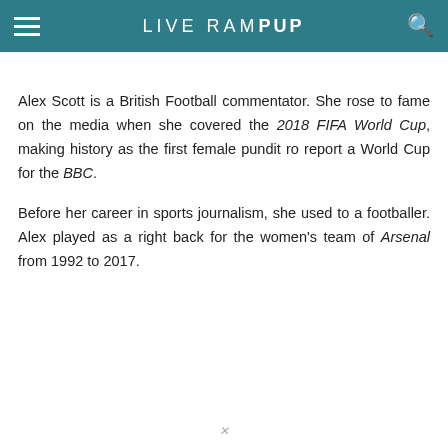LIVE RAMPUP
Alex Scott is a British Football commentator. She rose to fame on the media when she covered the 2018 FIFA World Cup, making history as the first female pundit ro report a World Cup for the BBC.
Before her career in sports journalism, she used to a footballer. Alex played as a right back for the women's team of Arsenal from 1992 to 2017.